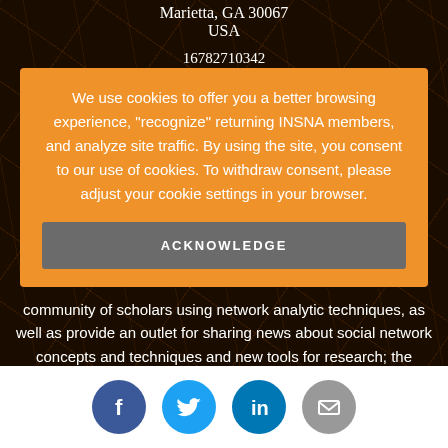Marietta, GA 30067
USA

16782710342
We use cookies to offer you a better browsing experience, "recognize" returning INSNA members, and analyze site traffic. By using the site, you consent to our use of cookies. To withdraw consent, please adjust your cookie settings in your browser.
ACKNOWLEDGE
community of scholars using network analytic techniques, as well as provide an outlet for sharing news about social network concepts and techniques and new tools for research; the Journal of Social Structure, an electronic journal designed to facilitate timely
[Figure (infographic): Social media share icons: Facebook (blue circle), Twitter (light blue circle), LinkedIn (blue circle), Email (grey circle)]